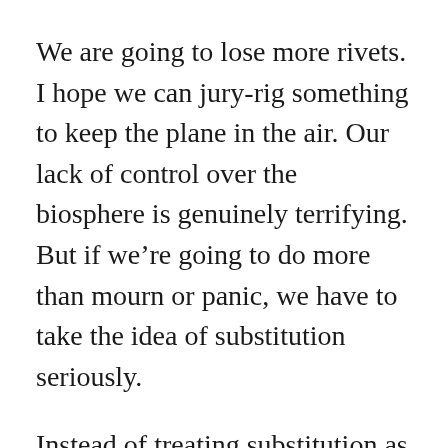We are going to lose more rivets. I hope we can jury-rig something to keep the plane in the air. Our lack of control over the biosphere is genuinely terrifying. But if we're going to do more than mourn or panic, we have to take the idea of substitution seriously.
Instead of treating substitution as the frictionless replacement of one kind of thing for another, as if matter were totally commensurable, however, we could recognize that substitutes might be rough around the edges but can nevertheless help prevent total